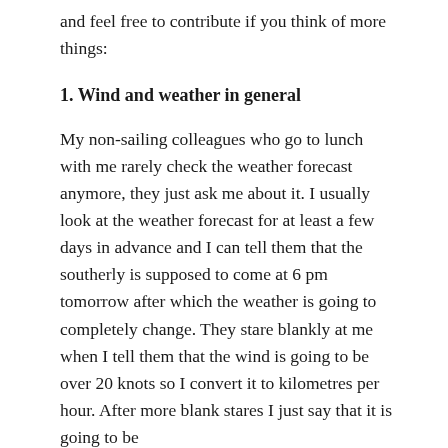and feel free to contribute if you think of more things:
1. Wind and weather in general
My non-sailing colleagues who go to lunch with me rarely check the weather forecast anymore, they just ask me about it. I usually look at the weather forecast for at least a few days in advance and I can tell them that the southerly is supposed to come at 6 pm tomorrow after which the weather is going to completely change. They stare blankly at me when I tell them that the wind is going to be over 20 knots so I convert it to kilometres per hour. After more blank stares I just say that it is going to be